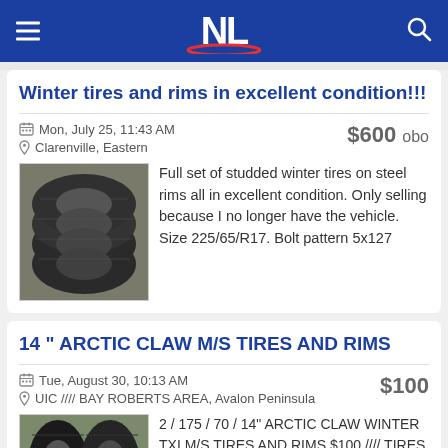NL
Winter tires and rims in excellent condition!!!
Mon, July 25, 11:43 AM | Clarenville, Eastern | $600 obo
[Figure (photo): Photo of stacked winter tires on steel rims outdoors]
Full set of studded winter tires on steel rims all in excellent condition. Only selling because I no longer have the vehicle. Size 225/65/R17. Bolt pattern 5x127
14 " ARCTIC CLAW M/S TIRES AND RIMS
Tue, August 30, 10:13 AM | UIC //// BAY ROBERTS AREA, Avalon Peninsula | $100
[Figure (photo): Photo of winter tires leaning against surface outdoors]
2 / 175 / 70 / 14" ARCTIC CLAW WINTER TXI M/S TIRES AND RIMS $100 //// TIRES HAVE NO PLUGS OR DRY ROT ETC. //// RIMS ARE